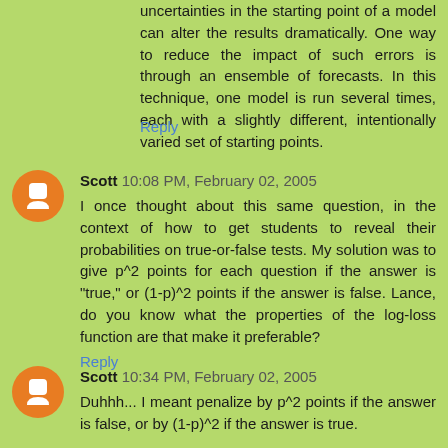uncertainties in the starting point of a model can alter the results dramatically. One way to reduce the impact of such errors is through an ensemble of forecasts. In this technique, one model is run several times, each with a slightly different, intentionally varied set of starting points.
Reply
Scott 10:08 PM, February 02, 2005
I once thought about this same question, in the context of how to get students to reveal their probabilities on true-or-false tests. My solution was to give p^2 points for each question if the answer is "true," or (1-p)^2 points if the answer is false. Lance, do you know what the properties of the log-loss function are that make it preferable?
Reply
Scott 10:34 PM, February 02, 2005
Duhhh... I meant penalize by p^2 points if the answer is false, or by (1-p)^2 if the answer is true.